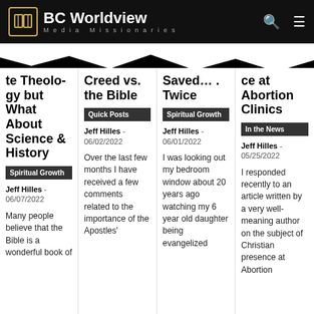BC Worldview - Media Missionaries
...to Theology but What About Science & History
Creed vs. the Bible
Saved... . Twice
ce at Abortion Clinics
Spiritual Growth
Jeff Hilles - 06/07/2022
Many people believe that the Bible is a wonderful book of
Quick Posts
Jeff Hilles - 06/02/2022
Over the last few months I have received a few comments related to the importance of the Apostles'
Spiritual Growth
Jeff Hilles - 06/01/2022
I was looking out my bedroom window about 20 years ago watching my 6 year old daughter being evangelized
In the News
Jeff Hilles - 05/25/2022
I responded recently to an article written by a very well-meaning author on the subject of Christian presence at Abortion